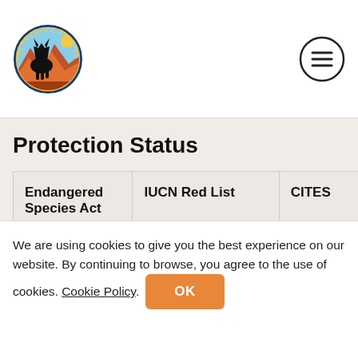[Figure (logo): Defenders of Wildlife circular logo with wolf silhouette and colorful landscape]
[Figure (other): Hamburger/menu icon — three horizontal lines in a circle]
Protection Status
| Endangered Species Act | IUCN Red List | CITES |
| --- | --- | --- |
| Endangered | Near Threatened | Appendi… |
We are using cookies to give you the best experience on our website. By continuing to browse, you agree to the use of cookies. Cookie Policy.